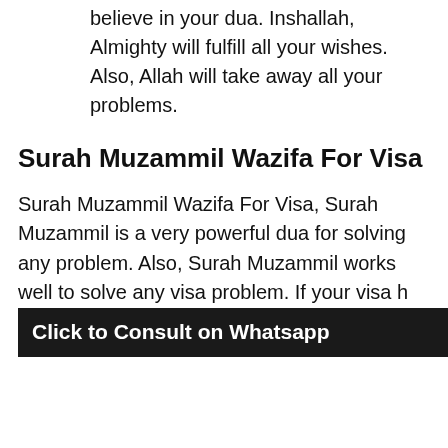believe in your dua. Inshallah, Almighty will fulfill all your wishes. Also, Allah will take away all your problems.
Surah Muzammil Wazifa For Visa
Surah Muzammil Wazifa For Visa, Surah Muzammil is a very powerful dua for solving any problem. Also, Surah Muzammil works well to solve any visa problem. If your visa has been rejected, and here is a solution. Recite this Surah Muzammil wazifa for visa. Perform the wazifa according to the given steps and procedures. Inshallah, the almighty will accept the Surah Muzammil wazifa for visa.
[Figure (other): Black bar overlay with text: Click to Consult on Whatsapp]
Firstly, recite Durood Shareef for a total number of eleven times.
Secondly, recite Surah Muzammil for one